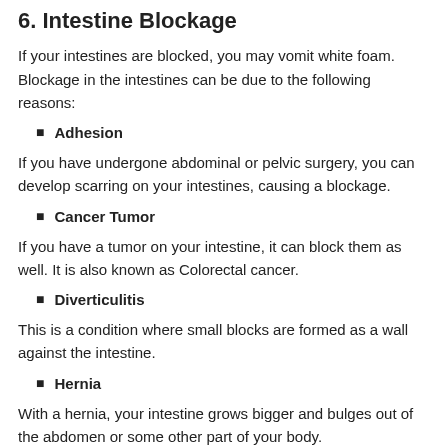6. Intestine Blockage
If your intestines are blocked, you may vomit white foam. Blockage in the intestines can be due to the following reasons:
Adhesion
If you have undergone abdominal or pelvic surgery, you can develop scarring on your intestines, causing a blockage.
Cancer Tumor
If you have a tumor on your intestine, it can block them as well. It is also known as Colorectal cancer.
Diverticulitis
This is a condition where small blocks are formed as a wall against the intestine.
Hernia
With a hernia, your intestine grows bigger and bulges out of the abdomen or some other part of your body.